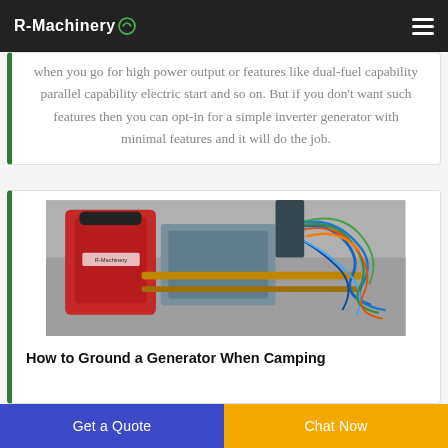R-Machinery
when you go for high power output or features like dual-fuel capability parallel capability electric start and so on. But if you don't want such features then you can opt-in for a simple inverter generator with minimal features and it will do the job.
[Figure (photo): Top-down view of a red generator or electrical device with copper wires and colorful cables (blue, green, orange) spread around it on a surface.]
How to Ground a Generator When Camping
Get a Quote
Chat Now